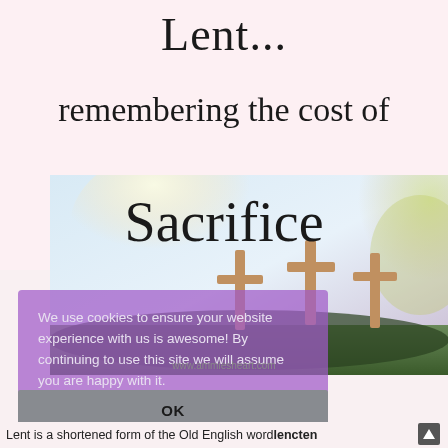Lent...
remembering the cost of
Sacrifice
[Figure (photo): Outdoor photo of three wooden crosses on a hilltop with blurred bokeh background of trees and warm light, suggesting Easter/Lent theme.]
We use cookies to ensure your website experience with us is awesome! By continuing to use this site we will assume you are happy with it.
www.ammiesheart.com
OK
Lent is a shortened form of the Old English word lencten